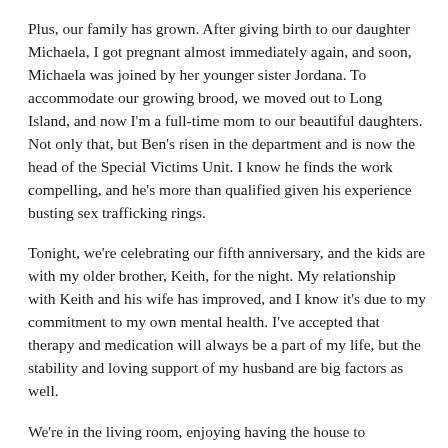Plus, our family has grown.  After giving birth to our daughter Michaela, I got pregnant almost immediately again, and soon, Michaela was joined by her younger sister Jordana.  To accommodate our growing brood, we moved out to Long Island, and now I'm a full-time mom to our beautiful daughters.  Not only that, but Ben's risen in the department and is now the head of the Special Victims Unit.  I know he finds the work compelling, and he's more than qualified given his experience busting sex trafficking rings.
Tonight, we're celebrating our fifth anniversary, and the kids are with my older brother, Keith, for the night.  My relationship with Keith and his wife has improved, and I know it's due to my commitment to my own mental health.  I've accepted that therapy and medication will always be a part of my life, but the stability and loving support of my husband are big factors as well.
We're in the living room, enjoying having the house to ourselves and I giggle as my husband gets down from the sofa.  I've just shown him my moves with my flute (again) and I start to get up